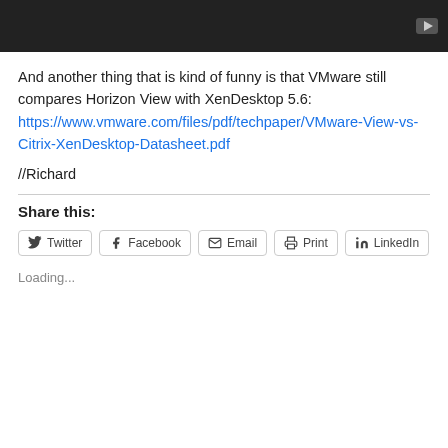[Figure (screenshot): Dark video thumbnail bar with YouTube play button icon in top right]
And another thing that is kind of funny is that VMware still compares Horizon View with XenDesktop 5.6: https://www.vmware.com/files/pdf/techpaper/VMware-View-vs-Citrix-XenDesktop-Datasheet.pdf
//Richard
Share this:
Twitter  Facebook  Email  Print  LinkedIn
Loading...